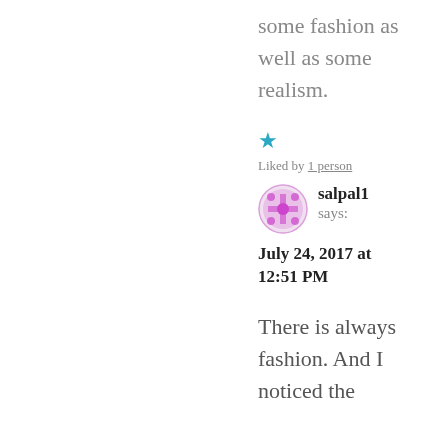some fashion as well as some realism.
★ Liked by 1 person
salpal1 says:
July 24, 2017 at 12:51 PM
There is always fashion. And I noticed the